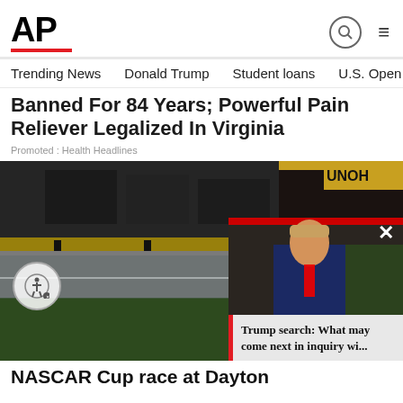AP
Trending News   Donald Trump   Student loans   U.S. Open Tenn
Banned For 84 Years; Powerful Pain Reliever Legalized In Virginia
Promoted : Health Headlines
[Figure (photo): NASCAR racetrack with pit lane, trucks and signage including UNOH.EDU and UNOH in background. Flooded or wet track surface visible. Overlay of Trump video thumbnail with caption 'Trump search: What may come next in inquiry wi...']
NASCAR Cup race at Dayton